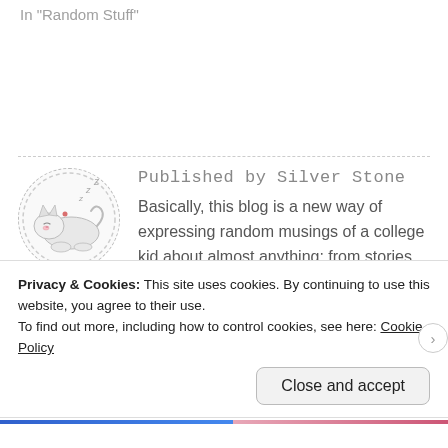In "Random Stuff"
[Figure (illustration): Circular dashed-border avatar showing a cute sleeping cat/dog illustration with 'z z z' sleep symbols]
Published by Silver Stone
Basically, this blog is a new way of expressing random musings of a college kid about almost anything: from stories and poetry to discussions and rant posts and doodles. Explore this blog to find
Privacy & Cookies: This site uses cookies. By continuing to use this website, you agree to their use.
To find out more, including how to control cookies, see here: Cookie Policy
Close and accept